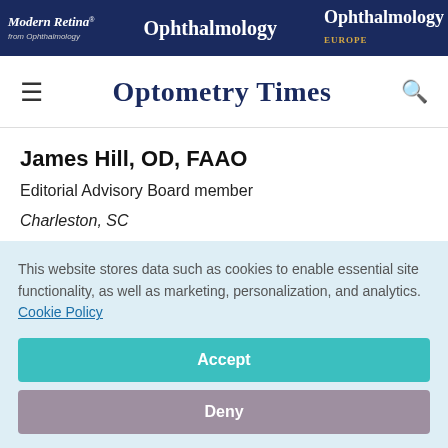Modern Retina from Ophthalmology | Ophthalmology Times | Ophthalmology Times Europe
Optometry Times
James Hill, OD, FAAO
Editorial Advisory Board member
Charleston, SC
My family gets together on Christmas Eve in the afternoon,
This website stores data such as cookies to enable essential site functionality, as well as marketing, personalization, and analytics. Cookie Policy
Accept
Deny